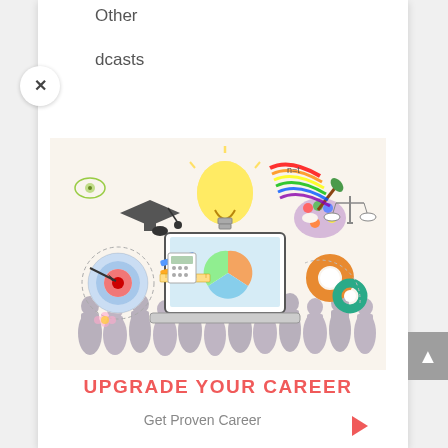Other
dcasts
[Figure (illustration): Educational/career concept illustration: laptop with lightbulb emerging, graduation cap, art palette, gears, target/dartboard, rainbow brushstroke, scales of justice, pencils, ruler, people silhouettes shaking hands in foreground]
UPGRADE YOUR CAREER
Get Proven Career